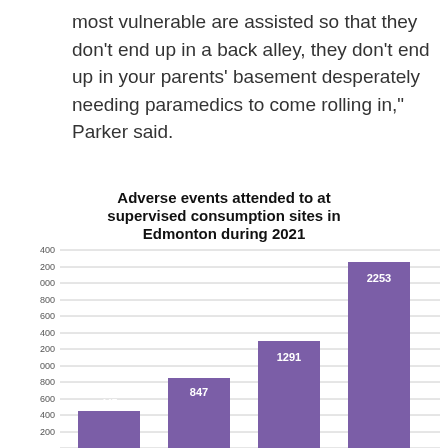most vulnerable are assisted so that they don't end up in a back alley, they don't end up in your parents' basement desperately needing paramedics to come rolling in," Parker said.
[Figure (bar-chart): Adverse events attended to at supervised consumption sites in Edmonton during 2021]